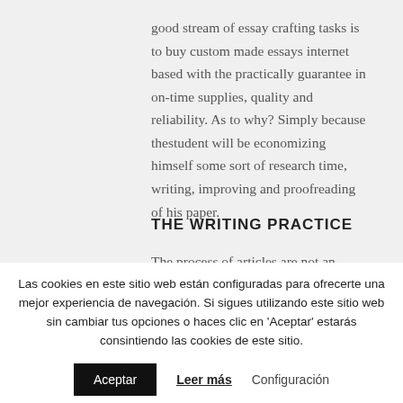good stream of essay crafting tasks is to buy custom made essays internet based with the practically guarantee in on-time supplies, quality and reliability. As to why? Simply because thestudent will be economizing himself some sort of research time, writing, improving and proofreading of his paper.
THE WRITING PRACTICE
The process of articles are not an convenient
Las cookies en este sitio web están configuradas para ofrecerte una mejor experiencia de navegación. Si sigues utilizando este sitio web sin cambiar tus opciones o haces clic en 'Aceptar' estarás consintiendo las cookies de este sitio.